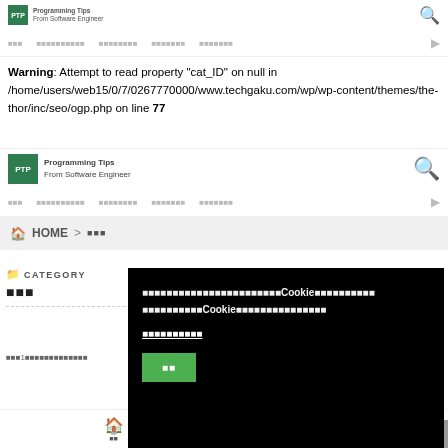Programming Tips From Software Engineer — ghost top header
Warning: Attempt to read property "cat_ID" on null in /home/users/web15/0/7/0267770000/www.techgaku.com/wp/wp-content/themes/the-thor/inc/seo/ogp.php on line 77
Programming Tips From Software Engineer — main header with search
HOME > (Japanese navigation breadcrumb)
CATEGORY
(Japanese category name)
(Japanese sidebar info text)
Cookie consent overlay: (Japanese cookie consent text) Cookie (Japanese) Cookie (Japanese). (Japanese link text). OK button.
HOME navigation bottom bar with TOP button